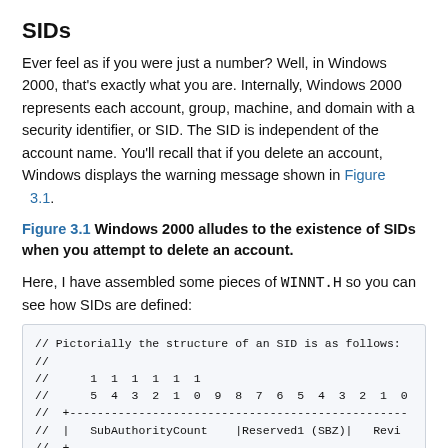SIDs
Ever feel as if you were just a number? Well, in Windows 2000, that's exactly what you are. Internally, Windows 2000 represents each account, group, machine, and domain with a security identifier, or SID. The SID is independent of the account name. You'll recall that if you delete an account, Windows displays the warning message shown in Figure 3.1.
Figure 3.1 Windows 2000 alludes to the existence of SIDs when you attempt to delete an account.
Here, I have assembled some pieces of WINNT.H so you can see how SIDs are defined:
// Pictorially the structure of an SID is as follows:
//
//     1 1 1 1 1 1
//     5 4 3 2 1 0 9 8 7 6 5 4 3 2 1 0
//  +---------------------------------------------
//  | SubAuthorityCount    |Reserved1 (SBZ)|  Revi
//  +---------------------------------------------
//  |          IdentifierAuthority[0]             |